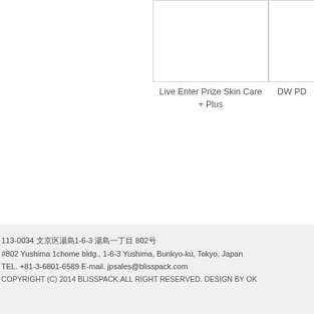[Figure (photo): Product image placeholder box for Live Enter Prize Skin Care + Plus]
Live Enter Prize Skin Care + Plus
[Figure (photo): Partial product image placeholder box for DW PD (partially visible)]
DW PD
113-0034 文京区湯島1-6-3 湯島一丁目 802号
#802 Yushima 1chome bldg., 1-6-3 Yushima, Bunkyo-ku, Tokyo, Japan
TEL. +81-3-6801-6589 E-mail. jpsales@blisspack.com
COPYRIGHT (C) 2014 BLISSPACK.ALL RIGHT RESERVED. DESIGN BY OK